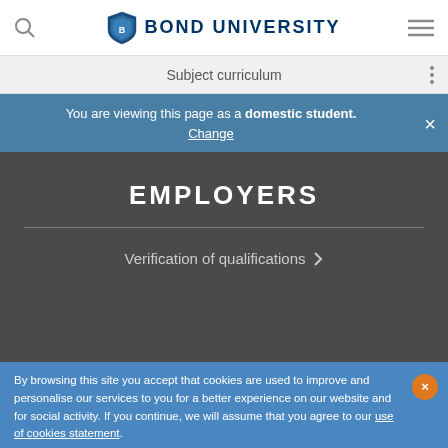BOND UNIVERSITY
Subject curriculum
You are viewing this page as a domestic student. Change
EMPLOYERS
Verification of qualifications
By browsing this site you accept that cookies are used to improve and personalise our services to you for a better experience on our website and for social activity. If you continue, we will assume that you agree to our use of cookies statement.